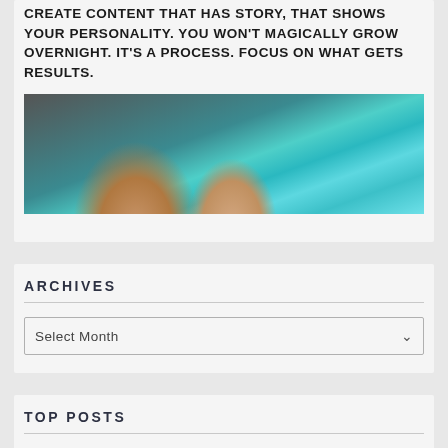CREATE CONTENT THAT HAS STORY, THAT SHOWS YOUR PERSONALITY. YOU WON'T MAGICALLY GROW OVERNIGHT. IT'S A PROCESS. FOCUS ON WHAT GETS RESULTS.
[Figure (photo): Two people at an event with colorful teal/cyan light display in background]
ARCHIVES
Select Month
TOP POSTS